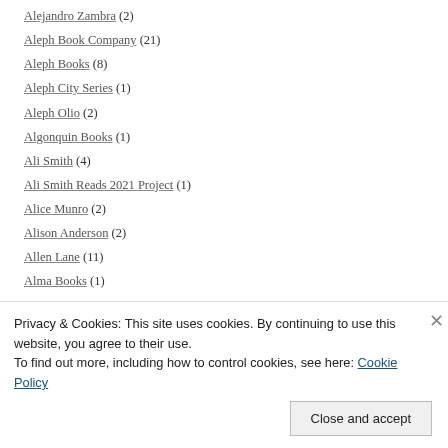Alejandro Zambra (2)
Aleph Book Company (21)
Aleph Books (8)
Aleph City Series (1)
Aleph Olio (2)
Algonquin Books (1)
Ali Smith (4)
Ali Smith Reads 2021 Project (1)
Alice Munro (2)
Alison Anderson (2)
Allen Lane (11)
Alma Books (1)
Privacy & Cookies: This site uses cookies. By continuing to use this website, you agree to their use. To find out more, including how to control cookies, see here: Cookie Policy
Close and accept